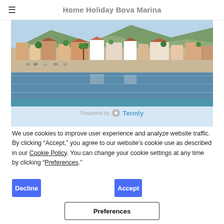Home Holiday Bova Marina
[Figure (photo): Coastal town view of Bova Marina with buildings, beach, and water reflections]
Powered by Termly
We use cookies to improve user experience and analyze website traffic. By clicking “Accept,” you agree to our website’s cookie use as described in our Cookie Policy. You can change your cookie settings at any time by clicking “Preferences.”
Decline
Accept
Preferences